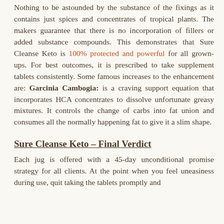Nothing to be astounded by the substance of the fixings as it contains just spices and concentrates of tropical plants. The makers guarantee that there is no incorporation of fillers or added substance compounds. This demonstrates that Sure Cleanse Keto is 100% protected and powerful for all grown-ups. For best outcomes, it is prescribed to take supplement tablets consistently. Some famous increases to the enhancement are: Garcinia Cambogia: is a craving support equation that incorporates HCA concentrates to dissolve unfortunate greasy mixtures. It controls the change of carbs into fat union and consumes all the normally happening fat to give it a slim shape.
Sure Cleanse Keto – Final Verdict
Each jug is offered with a 45-day unconditional promise strategy for all clients. At the point when you feel uneasiness during use, quit taking the tablets promptly and